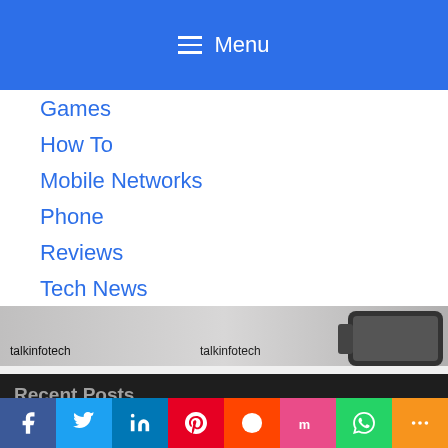☰ Menu
Games
How To
Mobile Networks
Phone
Reviews
Tech News
[Figure (photo): Phone/tablet device image with talkinfotech watermarks]
Recent Posts
We use cookies to ensure that we give you the best experience on our website. If you accept, you will have a great browsing feel.
VoIP TERMINATION FEES YOU SHOULD NEVER
Facebook Twitter LinkedIn Pinterest Reddit Mix WhatsApp More